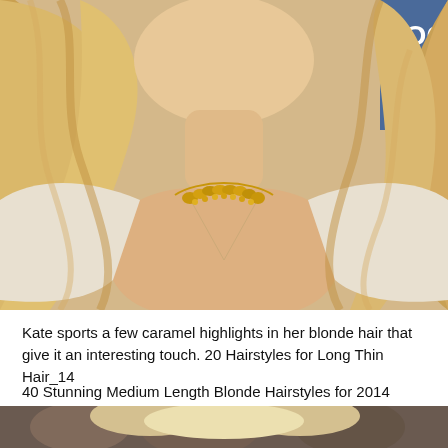[Figure (photo): Close-up photo of a woman with long wavy blonde hair with caramel highlights, wearing a gold floral necklace and a light-colored blazer. Background shows partial text 'TOGR' and 'ezia'.]
Kate sports a few caramel highlights in her blonde hair that give it an interesting touch. 20 Hairstyles for Long Thin Hair_14
40 Stunning Medium Length Blonde Hairstyles for 2014
[Figure (photo): Partial photo of a woman with blonde hair, cropped at bottom of page.]